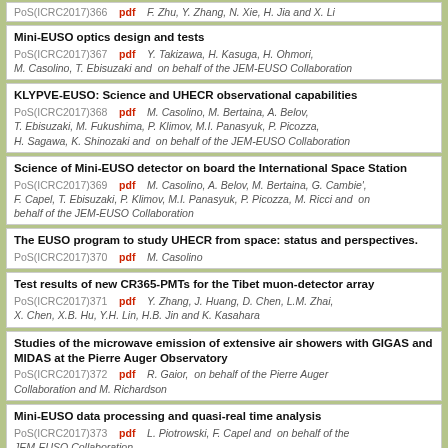PoS(ICRC2017)366  pdf  F. Zhu, Y. Zhang, N. Xie, H. Jia and X. Li
Mini-EUSO optics design and tests
PoS(ICRC2017)367  pdf  Y. Takizawa, H. Kasuga, H. Ohmori, M. Casolino, T. Ebisuzaki and  on behalf of the JEM-EUSO Collaboration
KLYPVE-EUSO: Science and UHECR observational capabilities
PoS(ICRC2017)368  pdf  M. Casolino, M. Bertaina, A. Belov, T. Ebisuzaki, M. Fukushima, P. Klimov, M.I. Panasyuk, P. Picozza, H. Sagawa, K. Shinozaki and  on behalf of the JEM-EUSO Collaboration
Science of Mini-EUSO detector on board the International Space Station
PoS(ICRC2017)369  pdf  M. Casolino, A. Belov, M. Bertaina, G. Cambie', F. Capel, T. Ebisuzaki, P. Klimov, M.I. Panasyuk, P. Picozza, M. Ricci and  on behalf of the JEM-EUSO Collaboration
The EUSO program to study UHECR from space: status and perspectives.
PoS(ICRC2017)370  pdf  M. Casolino
Test results of new CR365-PMTs for the Tibet muon-detector array
PoS(ICRC2017)371  pdf  Y. Zhang, J. Huang, D. Chen, L.M. Zhai, X. Chen, X.B. Hu, Y.H. Lin, H.B. Jin and K. Kasahara
Studies of the microwave emission of extensive air showers with GIGAS and MIDAS at the Pierre Auger Observatory
PoS(ICRC2017)372  pdf  R. Gaior,  on behalf of the Pierre Auger Collaboration and M. Richardson
Mini-EUSO data processing and quasi-real time analysis
PoS(ICRC2017)373  pdf  L. Piotrowski, F. Capel and  on behalf of the JEM-EUSO Collaboration
The EUSO-TA detector: status and performance
PoS(ICRC2017)374  pdf  L. Piotrowski and  on behalf of the JEM-EUSO